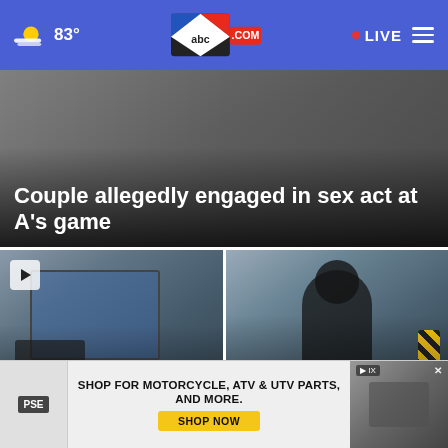abc4.com | 83° | LIVE
Couple allegedly engaged in sex act at A's game
[Figure (photo): News thumbnail showing outdoor scene, left card with security camera footage and play button overlay]
Ogden School District increases campus security
[Figure (photo): News thumbnail showing blurred silhouette of person outdoors near water]
Gov. Cox issues State of Emergency for southern Utah
SHOP FOR MOTORCYCLE, ATV & UTV PARTS, AND MORE. SHOP NOW